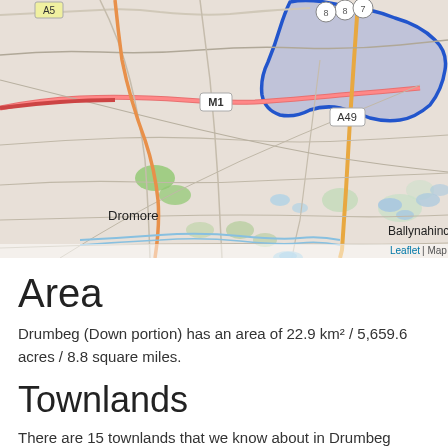[Figure (map): OpenStreetMap-based interactive map showing the townland of Drumbeg (Down portion) highlighted with a blue outlined region (filled light purple/blue) in the upper-right area. The map shows roads including M1 motorway and A49, settlements Dromore and Ballynahinci, rural roads, green patches, and water features. Road network visible with orange, red, and grey roads.]
Leaflet | Map da
Area
Drumbeg (Down portion) has an area of 22.9 km² / 5,659.6 acres / 8.8 square miles.
Townlands
There are 15 townlands that we know about in Drumbeg (Down